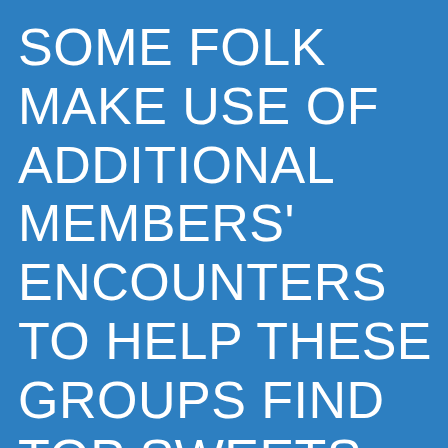SOME FOLK MAKE USE OF ADDITIONAL MEMBERS' ENCOUNTERS TO HELP THESE GROUPS FIND TOP SWEETS DADDIES. THIS CAN BE A GREAT WAY TO CONSTRUCT TRUST AND MAY IN